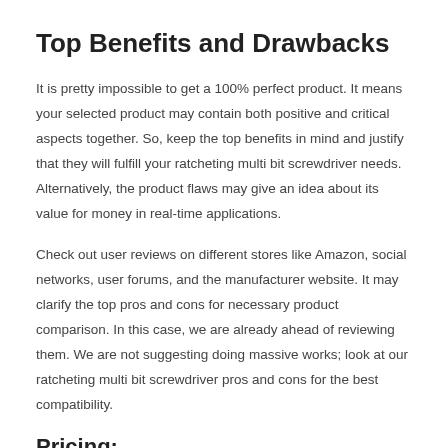Top Benefits and Drawbacks
It is pretty impossible to get a 100% perfect product. It means your selected product may contain both positive and critical aspects together. So, keep the top benefits in mind and justify that they will fulfill your ratcheting multi bit screwdriver needs. Alternatively, the product flaws may give an idea about its value for money in real-time applications.
Check out user reviews on different stores like Amazon, social networks, user forums, and the manufacturer website. It may clarify the top pros and cons for necessary product comparison. In this case, we are already ahead of reviewing them. We are not suggesting doing massive works; look at our ratcheting multi bit screwdriver pros and cons for the best compatibility.
Pricing: